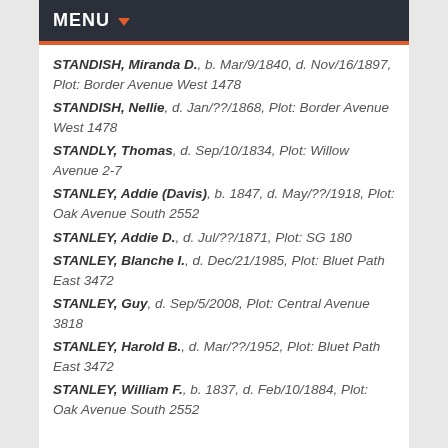MENU
STANDISH, Miranda D., b. Mar/9/1840, d. Nov/16/1897, Plot: Border Avenue West 1478
STANDISH, Nellie, d. Jan/??/1868, Plot: Border Avenue West 1478
STANDLY, Thomas, d. Sep/10/1834, Plot: Willow Avenue 2-7
STANLEY, Addie (Davis), b. 1847, d. May/??/1918, Plot: Oak Avenue South 2552
STANLEY, Addie D., d. Jul/??/1871, Plot: SG 180
STANLEY, Blanche I., d. Dec/21/1985, Plot: Bluet Path East 3472
STANLEY, Guy, d. Sep/5/2008, Plot: Central Avenue 3818
STANLEY, Harold B., d. Mar/??/1952, Plot: Bluet Path East 3472
STANLEY, William F., b. 1837, d. Feb/10/1884, Plot: Oak Avenue South 2552